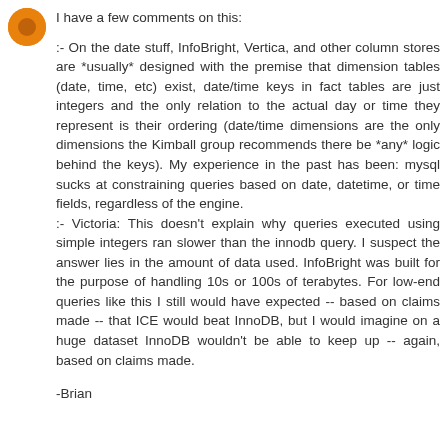[Figure (illustration): Orange circular avatar icon with darker orange inner circle, representing a user profile image]
I have a few comments on this:
:- On the date stuff, InfoBright, Vertica, and other column stores are *usually* designed with the premise that dimension tables (date, time, etc) exist, date/time keys in fact tables are just integers and the only relation to the actual day or time they represent is their ordering (date/time dimensions are the only dimensions the Kimball group recommends there be *any* logic behind the keys). My experience in the past has been: mysql sucks at constraining queries based on date, datetime, or time fields, regardless of the engine.
:- Victoria: This doesn't explain why queries executed using simple integers ran slower than the innodb query. I suspect the answer lies in the amount of data used. InfoBright was built for the purpose of handling 10s or 100s of terabytes. For low-end queries like this I still would have expected -- based on claims made -- that ICE would beat InnoDB, but I would imagine on a huge dataset InnoDB wouldn't be able to keep up -- again, based on claims made.
-Brian